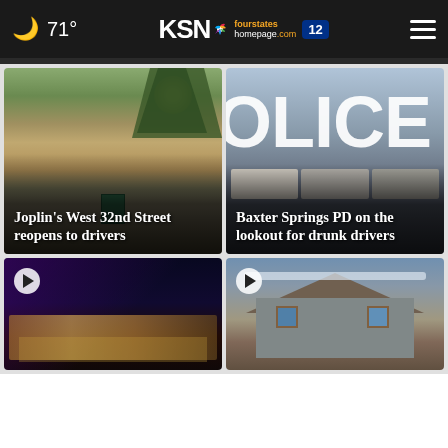71° KSN fourstates homepage .com 12
[Figure (photo): Road construction scene at sunset, Joplin West 32nd Street]
Joplin's West 32nd Street reopens to drivers
[Figure (photo): Police cruisers parked near building with large POLICE letters visible]
Baxter Springs PD on the lookout for drunk drivers
[Figure (photo): Night scene of building exterior with purple lighting, video thumbnail]
[Figure (photo): Damaged house rooftop with boarded windows, video thumbnail]